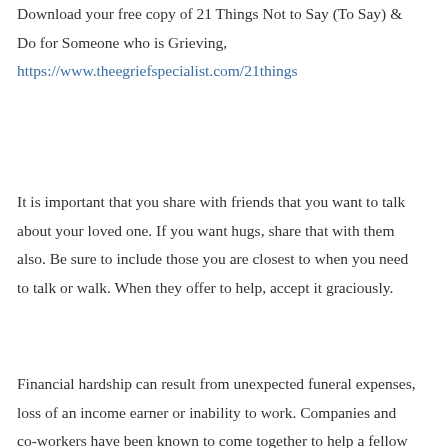Download your free copy of 21 Things Not to Say (To Say) & Do for Someone who is Grieving, https://www.theegriefspecialist.com/21things
It is important that you share with friends that you want to talk about your loved one. If you want hugs, share that with them also. Be sure to include those you are closest to when you need to talk or walk. When they offer to help, accept it graciously.
Financial hardship can result from unexpected funeral expenses, loss of an income earner or inability to work. Companies and co-workers have been known to come together to help a fellow